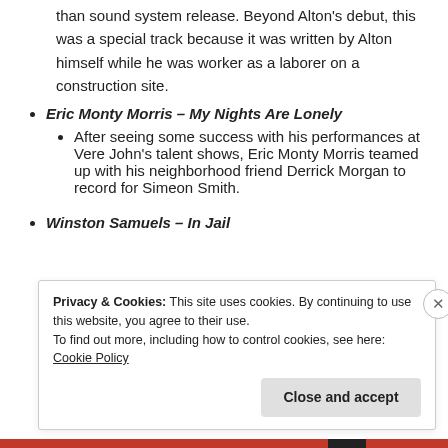than sound system release. Beyond Alton's debut, this was a special track because it was written by Alton himself while he was worker as a laborer on a construction site.
Eric Monty Morris – My Nights Are Lonely
After seeing some success with his performances at Vere John's talent shows, Eric Monty Morris teamed up with his neighborhood friend Derrick Morgan to record for Simeon Smith.
Winston Samuels – In Jail
Privacy & Cookies: This site uses cookies. By continuing to use this website, you agree to their use. To find out more, including how to control cookies, see here: Cookie Policy
Close and accept